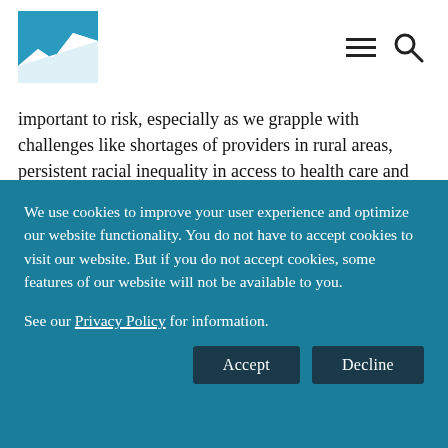[Logo and navigation icons]
important to risk, especially as we grapple with challenges like shortages of providers in rural areas, persistent racial inequality in access to health care and health outcomes, and uncertain federal funding. Introducing risk and uncertainty
We use cookies to improve your user experience and optimize our website functionality. You do not have to accept cookies to visit our website. But if you do not accept cookies, some features of our website will not be available to you.

See our Privacy Policy for information.